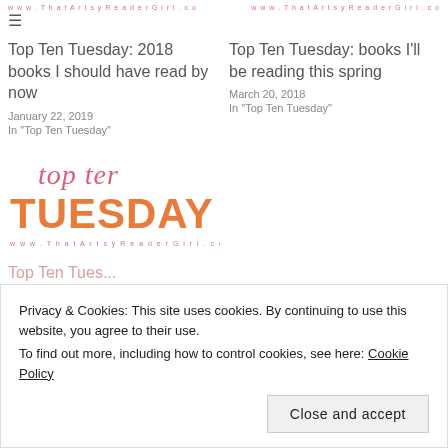www.ThatArtsyReaderGirl.co   www.ThatArtsyReaderGirl.co
Top Ten Tuesday: 2018 books I should have read by now
January 22, 2019
In "Top Ten Tuesday"
Top Ten Tuesday: books I'll be reading this spring
March 20, 2018
In "Top Ten Tuesday"
[Figure (logo): Top Ten Tuesday logo with 'top ten' in pink script above 'TUESDAY' in large orange/salmon block letters, with www.ThatArtsyReaderGirl.co below]
Privacy & Cookies: This site uses cookies. By continuing to use this website, you agree to their use.
To find out more, including how to control cookies, see here: Cookie Policy
Close and accept